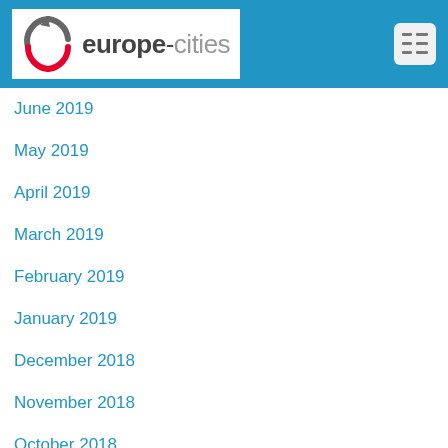[Figure (logo): europe-cities website logo with circular arrow icon in grey and red, text 'europe-cities' in grey/dark sans-serif]
June 2019
May 2019
April 2019
March 2019
February 2019
January 2019
December 2018
November 2018
October 2018
September 2018